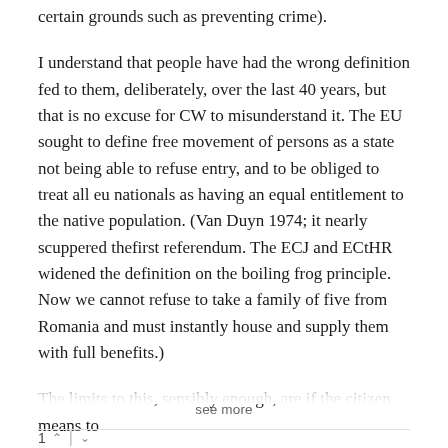certain grounds such as preventing crime).
I understand that people have had the wrong definition fed to them, deliberately, over the last 40 years, but that is no excuse for CW to misunderstand it. The EU sought to define free movement of persons as a state not being able to refuse entry, and to be obliged to treat all eu nationals as having an equal entitlement to the native population. (Van Duyn 1974; it nearly scuppered thefirst referendum. The ECJ and ECtHR widened the definition on the boiling frog principle. Now we cannot refuse to take a family of five from Romania and must instantly house and supply them with full benefits.)
The limits to this, sensibly enough, are if the citizen means to
see more
1 ^ | v
Trainspotter
6 years ago
What a load of utter garbage. I only read the first two paras before coming to this conclusion. She does not even understand the